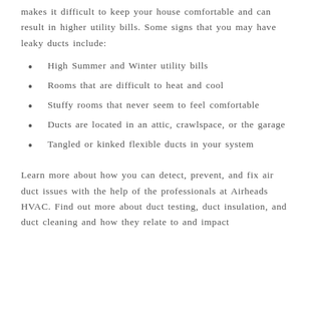makes it difficult to keep your house comfortable and can result in higher utility bills. Some signs that you may have leaky ducts include:
High Summer and Winter utility bills
Rooms that are difficult to heat and cool
Stuffy rooms that never seem to feel comfortable
Ducts are located in an attic, crawlspace, or the garage
Tangled or kinked flexible ducts in your system
Learn more about how you can detect, prevent, and fix air duct issues with the help of the professionals at Airheads HVAC. Find out more about duct testing, duct insulation, and duct cleaning and how they relate to and impact